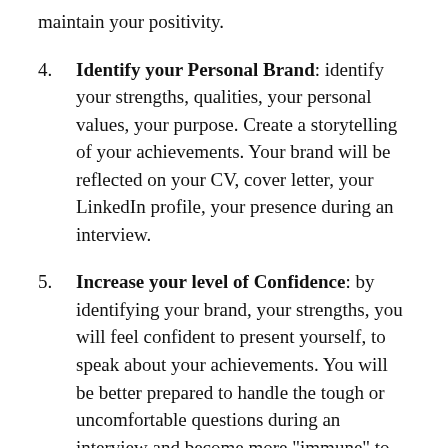maintain your positivity.
4. Identify your Personal Brand: identify your strengths, qualities, your personal values, your purpose. Create a storytelling of your achievements. Your brand will be reflected on your CV, cover letter, your LinkedIn profile, your presence during an interview.
5. Increase your level of Confidence: by identifying your brand, your strengths, you will feel confident to present yourself, to speak about your achievements. You will be better prepared to handle the tough or uncomfortable questions during an interview and become more "immune" to rejection or to "radio silence" by